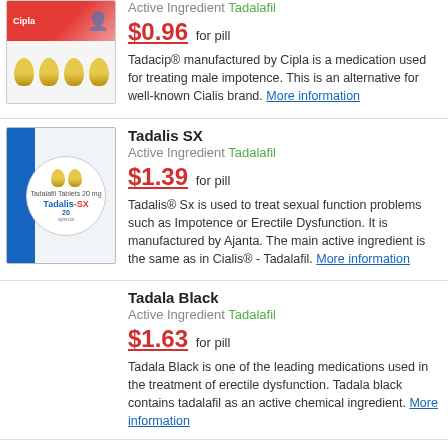[Figure (photo): Tadacip product image - red box with Cipla branding on top, blister pack with yellow pills below]
Active Ingredient Tadalafil
$0.96 for pill
Tadacip® manufactured by Cipla is a medication used for treating male impotence. This is an alternative for well-known Cialis brand. More information
[Figure (photo): Tadalis SX product image - blue box with blister pack and white oval label showing Tadalafil Tablets 20mg, Tadalis-SX 20]
Tadalis SX
Active Ingredient Tadalafil
$1.39 for pill
Tadalis® Sx is used to treat sexual function problems such as Impotence or Erectile Dysfunction. It is manufactured by Ajanta. The main active ingredient is the same as in Cialis® - Tadalafil. More information
Tadala Black
Active Ingredient Tadalafil
$1.63 for pill
Tadala Black is one of the leading medications used in the treatment of erectile dysfunction. Tadala black contains tadalafil as an active chemical ingredient. More information
Tadora